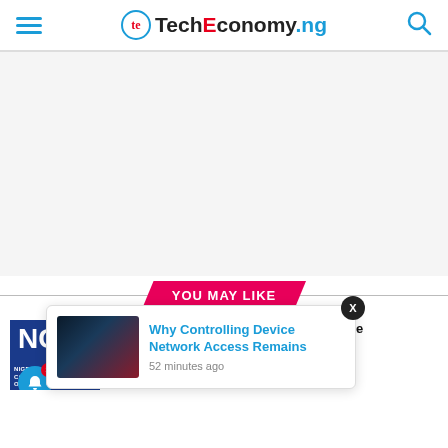TechEconomy.ng
[Figure (other): Advertisement / blank ad area]
YOU MAY LIKE
NCC Pegs International Termination Rate @10cents/mins. Takes Effect Sept.
[Figure (other): Popup notification card: Why Controlling Device Network Access Remains, 52 minutes ago]
95% Digital Literacy in Nigeria by 2030 Promising – Pantami